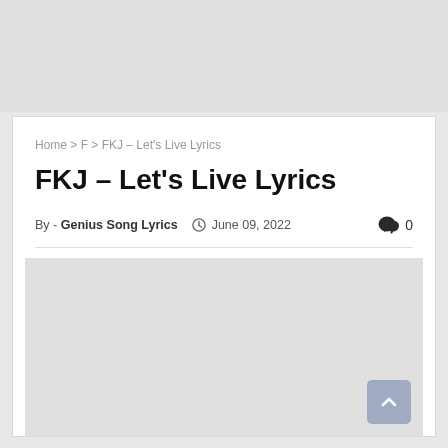[Figure (other): Top advertisement banner placeholder, light gray background]
Home > F > FKJ – Let's Live Lyrics
FKJ – Let's Live Lyrics
By - Genius Song Lyrics   June 09, 2022   0
[Figure (other): Content advertisement placeholder, light gray background]